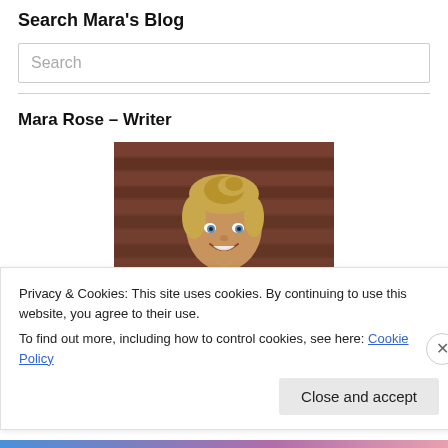Search Mara's Blog
Search (placeholder)
Mara Rose – Writer
[Figure (photo): Portrait photo of Mara Rose, a blonde woman smiling, sitting against a wooden wall background, wearing a blue and purple top.]
Privacy & Cookies: This site uses cookies. By continuing to use this website, you agree to their use.
To find out more, including how to control cookies, see here: Cookie Policy
Close and accept